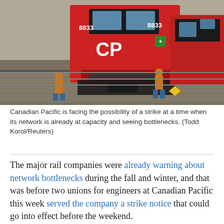[Figure (photo): CP (Canadian Pacific) red locomotive with workers in orange safety vests standing near the front of the train on a rail yard with multiple tracks.]
Canadian Pacific is facing the possibility of a strike at a time when its network is already at capacity and seeing bottlenecks. (Todd Korol/Reuters)
The major rail companies were already warning about network bottlenecks during the fall and winter, and that was before two unions for engineers at Canadian Pacific this week served the company a strike notice that could go into effect before the weekend.